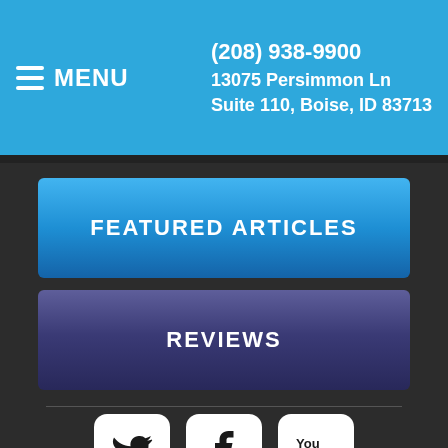(208) 938-9900
13075 Persimmon Ln
Suite 110, Boise, ID 83713
MENU
FEATURED ARTICLES
REVIEWS
[Figure (logo): Twitter, Facebook, and YouTube social media icons in white rounded-square buttons]
Copyright © 2022 MH Sub I, LLC dba iMatrix.  |  Admin Log In  |  Site Map